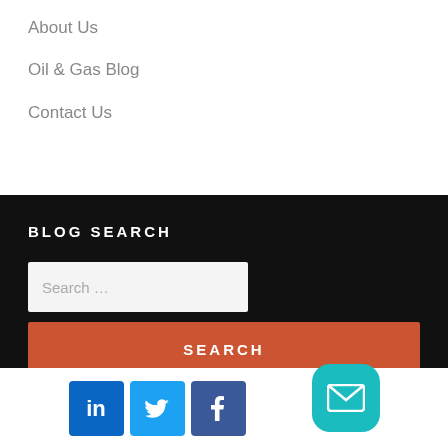About Us
Oil & Gas Blog
Contact Us
BLOG SEARCH
Search …
SEARCH
[Figure (other): Social media icons row: LinkedIn, Twitter, Facebook, and a teal mail/email button]